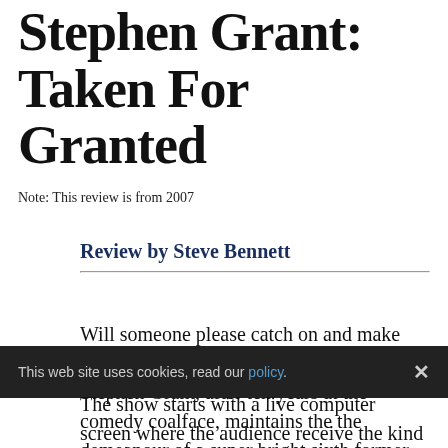Stephen Grant: Taken For Granted
Note: This review is from 2007
Review by Steve Bennett
Will someone please catch on and make this man famous?
Stephen Grant, after ten years at the comedy coalface, maintains the the demeanour of a super bright sixth former. He has bundles of
This web site uses cookies, read our policy.
The show starts with a live computer screen where the audience receive the kind